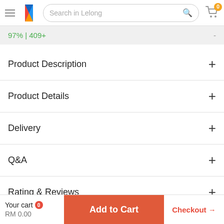Search in Lelong
97% | 409+
Product Description +
Product Details +
Delivery +
Q&A +
Rating & Reviews +
Payment +
More products from globaltrader
Your cart 0
RM 0.00
Add to Cart
Checkout →